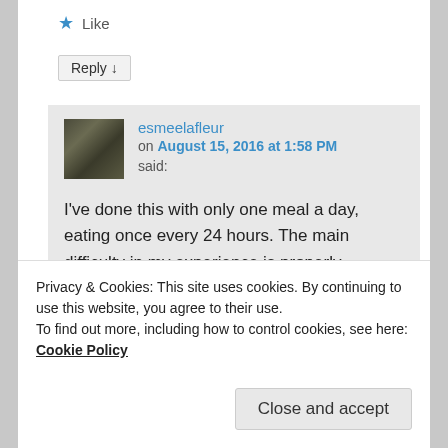★ Like
Reply ↓
esmeelafleur on August 15, 2016 at 1:58 PM said:
I've done this with only one meal a day, eating once every 24 hours. The main difficulty in my experience is properly hydrating before eating. You need a good 2 quarts of water before eating. So you
Privacy & Cookies: This site uses cookies. By continuing to use this website, you agree to their use.
To find out more, including how to control cookies, see here: Cookie Policy
Close and accept
Reply ↓